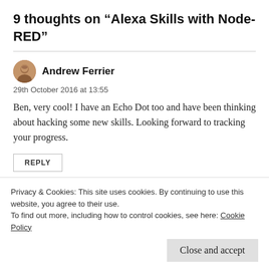9 thoughts on “Alexa Skills with Node-RED”
Andrew Ferrier
29th October 2016 at 13:55
Ben, very cool! I have an Echo Dot too and have been thinking about hacking some new skills. Looking forward to tracking your progress.
REPLY
Privacy & Cookies: This site uses cookies. By continuing to use this website, you agree to their use.
To find out more, including how to control cookies, see here: Cookie Policy
Close and accept